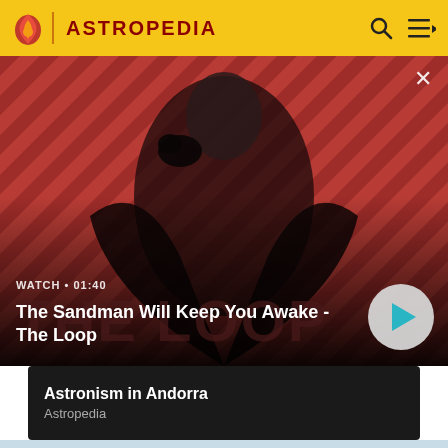ASTROPEDIA
[Figure (screenshot): Video thumbnail showing a dark-cloaked figure with a raven on shoulder against a red diagonal striped background. Shows 'THE LOOP' text overlaid. Play button visible.]
WATCH • 01:40
The Sandman Will Keep You Awake - The Loop
Astronism in Andorra
Astropedia
[Figure (map): Partial world map shown at bottom of screen, light blue/grey tones showing Europe and surrounding regions.]